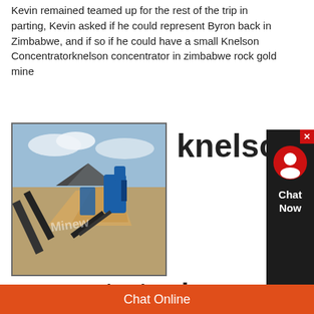Kevin remained teamed up for the rest of the trip in parting, Kevin asked if he could represent Byron back in Zimbabwe, and if so if he could have a small Knelson Concentratorknelson concentrator in zimbabwe rock gold mine
[Figure (photo): Mining equipment/machinery at an outdoor mine site with conveyor belts and blue machinery against a cloudy sky. Watermarked with 'Minew' text.]
knelson
concentrator in zimbabwe rock gold mine
knelson concentrator in zimbabwe rock gold mine 99%